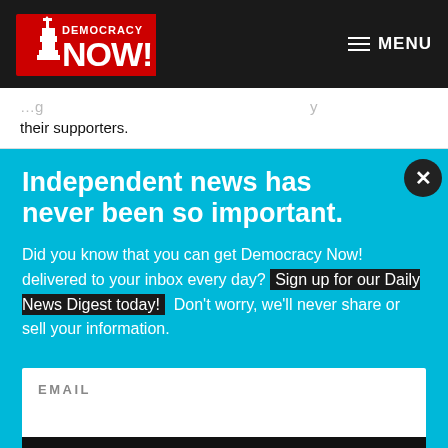[Figure (logo): Democracy Now! logo with red text and Statue of Liberty graphic on dark background header bar]
≡ MENU
their supporters.
Independent news has never been so important.
Did you know that you can get Democracy Now! delivered to your inbox every day? Sign up for our Daily News Digest today! Don't worry, we'll never share or sell your information.
EMAIL
SIGN UP!